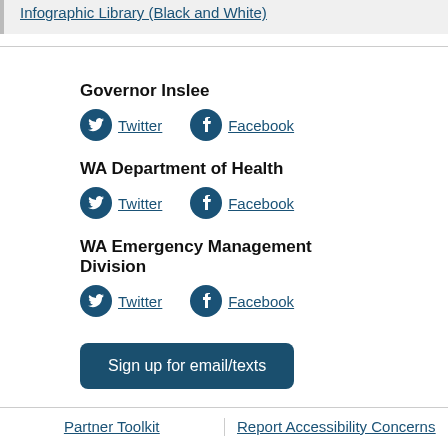Infographic Library (Black and White)
Governor Inslee
Twitter  Facebook
WA Department of Health
Twitter  Facebook
WA Emergency Management Division
Twitter  Facebook
Sign up for email/texts
Partner Toolkit  |  Report Accessibility Concerns